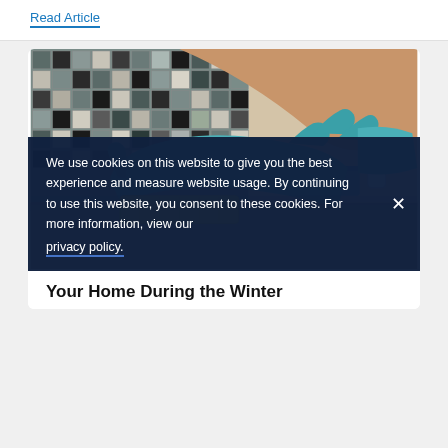Read Article
[Figure (photo): Person wearing teal/green rubber gloves cleaning a kitchen counter with a yellow sponge; holding a spray bottle in right hand; mosaic tile backsplash in background with mugs]
We use cookies on this website to give you the best experience and measure website usage. By continuing to use this website, you consent to these cookies. For more information, view our privacy policy.
Your Home During the Winter